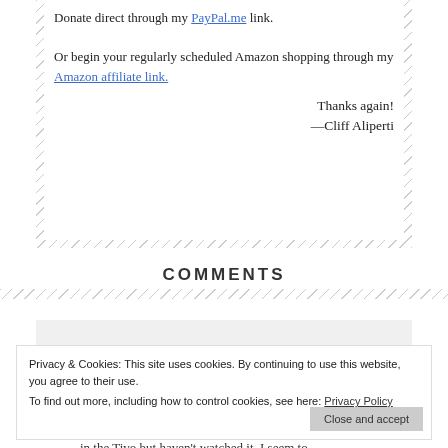Donate direct through my PayPal.me link.

Or begin your regularly scheduled Amazon shopping through my Amazon affiliate link.
Thanks again!
—Cliff Aliperti
COMMENTS
Privacy & Cookies: This site uses cookies. By continuing to use this website, you agree to their use.
To find out more, including how to control cookies, see here: Privacy Policy
in the Tivo but haven't watched it. I seem to